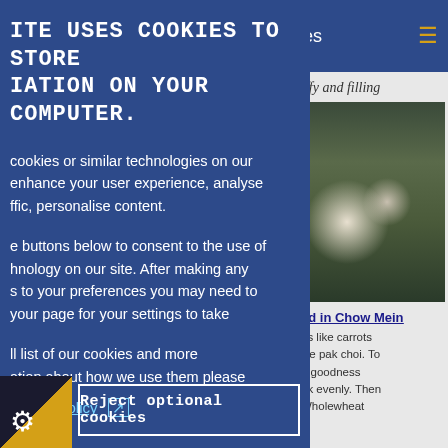ITE USES COOKIES TO STORE IATION ON YOUR COMPUTER.
cookies or similar technologies on our enhance your user experience, analyse ffic, personalise content.
e buttons below to consent to the use of hnology on our site. After making any s to your preferences you may need to your page for your settings to take
ll list of our cookies and more ation about how we use them please
ookies Policy [external link icon]
Reject optional cookies
es
fffy and filling
[Figure (photo): Photo of a plate of noodle dish (chow mein) with vegetables, served on a white ceramic plate with forks on a dark background]
ed in Chow Mein
es like carrots ike pak choi. To ir goodness ok evenly. Then Wholewheat